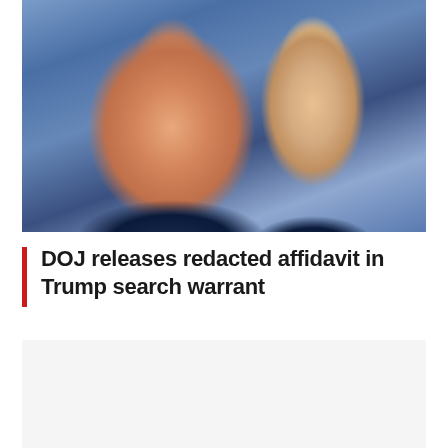[Figure (photo): Photo of Donald Trump making a puckered face expression, wearing a dark suit with a red tie, with a blonde woman visible behind him against a purple/blue draped background.]
DOJ releases redacted affidavit in Trump search warrant
LEAVE A REPLY
Enter your comment here...